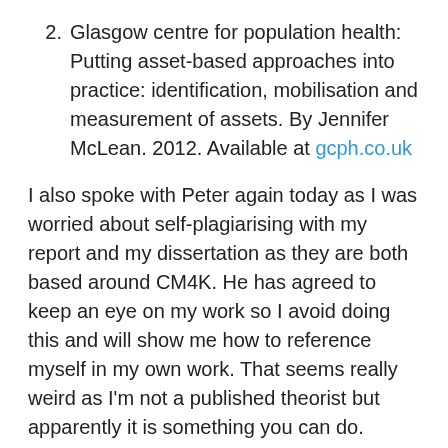Glasgow centre for population health: Putting asset-based approaches into practice: identification, mobilisation and measurement of assets. By Jennifer McLean. 2012. Available at gcph.co.uk
I also spoke with Peter again today as I was worried about self-plagiarising with my report and my dissertation as they are both based around CM4K. He has agreed to keep an eye on my work so I avoid doing this and will show me how to reference myself in my own work. That seems really weird as I'm not a published theorist but apparently it is something you can do.
Something I have noticed is that even though we discuss the day's work at the end of the day we do not always speak specifically about what we have all done as individuals. I will bring this up later as I would love to hear